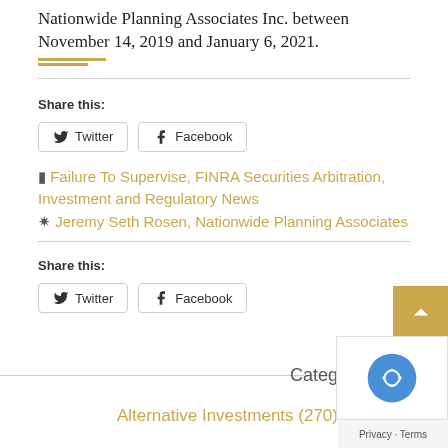Nationwide Planning Associates Inc. between November 14, 2019 and January 6, 2021.
Share this:
Twitter
Facebook
Failure To Supervise, FINRA Securities Arbitration, Investment and Regulatory News
Jeremy Seth Rosen, Nationwide Planning Associates
Share this:
Twitter
Facebook
Categ
Alternative Investments (270)